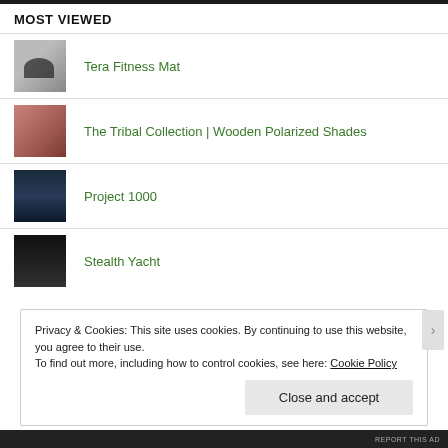MOST VIEWED
Tera Fitness Mat
The Tribal Collection | Wooden Polarized Shades
Project 1000
Stealth Yacht
Privacy & Cookies: This site uses cookies. By continuing to use this website, you agree to their use. To find out more, including how to control cookies, see here: Cookie Policy
Close and accept